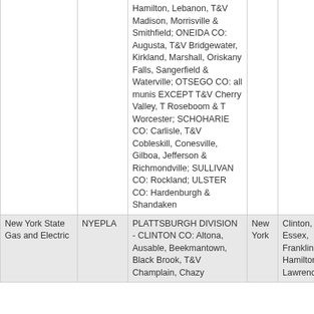|  |  | Service Area | State | Counties |
| --- | --- | --- | --- | --- |
|  |  | Hamilton, Lebanon, T&V Madison, Morrisville & Smithfield; ONEIDA CO: Augusta, T&V Bridgewater, Kirkland, Marshall, Oriskany Falls, Sangerfield & Waterville; OTSEGO CO: all munis EXCEPT T&V Cherry Valley, T Roseboom & T Worcester; SCHOHARIE CO: Carlisle, T&V Cobleskill, Conesville, Gilboa, Jefferson & Richmondville; SULLIVAN CO: Rockland; ULSTER CO: Hardenburgh & Shandaken |  |  |
| New York State Gas and Electric | NYEPLA | PLATTSBURGH DIVISION - CLINTON CO: Altona, Ausable, Beekmantown, Black Brook, T&V Champlain, Chazy | New York | Clinton, Essex, Franklin, Hamilton, Lawrence |